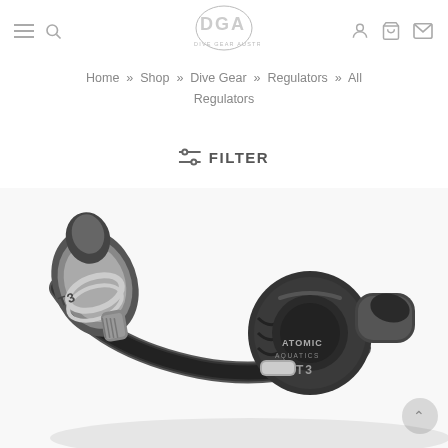Dive Gear Australia — navigation header with hamburger menu, search, logo, user, cart, and mail icons
Home » Shop » Dive Gear » Regulators » All Regulators
≡ FILTER
[Figure (photo): Close-up photo of Atomic Aquatics T3 diving regulator set, showing the first and second stages connected by a hose, with T3 and Atomic Aquatics branding visible on the hardware.]